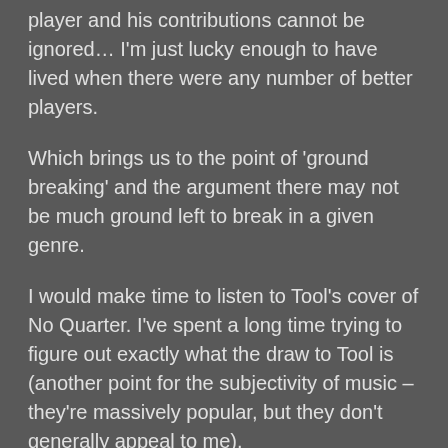player and his contributions cannot be ignored… I'm just lucky enough to have lived when there were any number of better players.
Which brings us to the point of 'ground breaking' and the argument there may not be much ground left to break in a given genre.
I would make time to listen to Tool's cover of No Quarter. I've spent a long time trying to figure out exactly what the draw to Tool is (another point for the subjectivity of music –they're massively popular, but they don't generally appeal to me).
Music is always interesting to discuss since it's so subjective. My friend and I argued to the point it's become an in–joke over whether or not Gilmore was a better guitarist than Satriani. 20 years on, he's admitted he understands what I felt that...